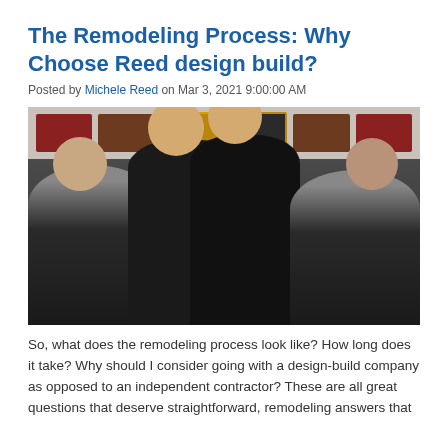The Remodeling Process: Why Choose Reed design build?
Posted by Michele Reed on Mar 3, 2021 9:00:00 AM
[Figure (photo): Group photo of four people (two seated men, two standing women) in black attire in front of a wall displaying awards and plaques]
So, what does the remodeling process look like? How long does it take? Why should I consider going with a design-build company as opposed to an independent contractor? These are all great questions that deserve straightforward, remodeling answers that...